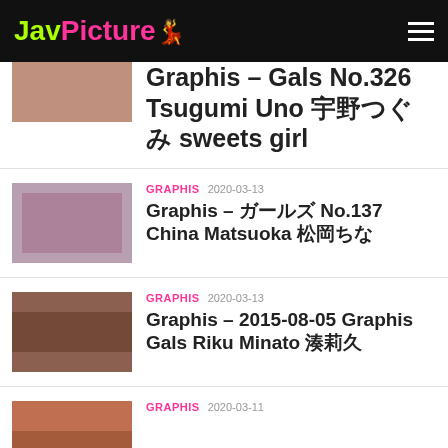JavPicture
Graphis – Gals No.326 Tsugumi Uno 宇野つぐみ sweets girl
GRAPHIS 2020-03-13
Graphis – ガールズ No.137 China Matsuoka 松岡ちな
GRAPHIS 2020-03-13
Graphis – 2015-08-05 Graphis Gals Riku Minato 湊莉久
GRAPHIS 2020-03-11